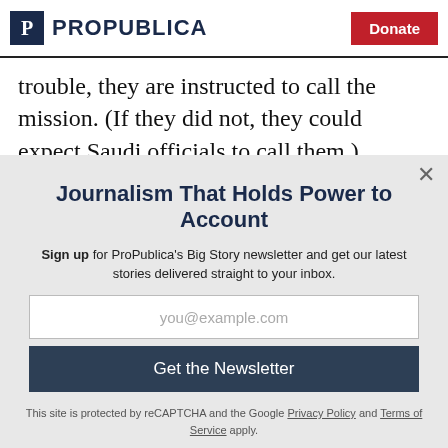ProPublica | Donate
trouble, they are instructed to call the mission. (If they did not, they could expect Saudi officials to call them.)
Journalism That Holds Power to Account
Sign up for ProPublica's Big Story newsletter and get our latest stories delivered straight to your inbox.
you@example.com
Get the Newsletter
No thanks, I'm all set
This site is protected by reCAPTCHA and the Google Privacy Policy and Terms of Service apply.